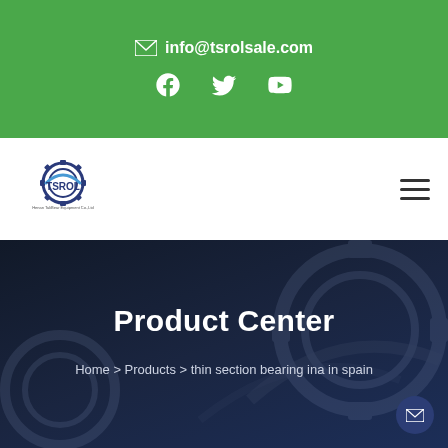info@tsrolsale.com
[Figure (logo): TSROL company logo with gear icon]
Product Center
Home > Products > thin section bearing ina in spain